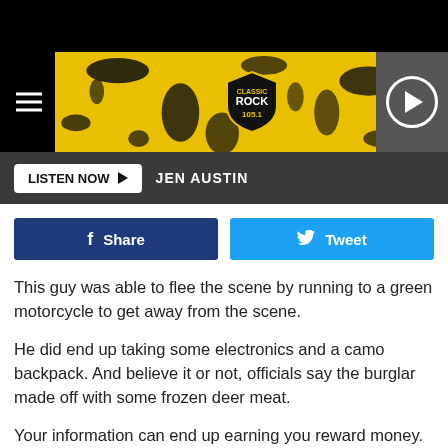[Figure (screenshot): Classic Rock 105.1 radio station website header banner with yellow and black splatter design and station logo shield]
LISTEN NOW  JEN AUSTIN
[Figure (infographic): Facebook Share button and Twitter Tweet button]
This guy was able to flee the scene by running to a green motorcycle to get away from the scene.
He did end up taking some electronics and a camo backpack. And believe it or not, officials say the burglar made off with some frozen deer meat.
Your information can end up earning you reward money.
If you recognize the person in this picture or you happen to